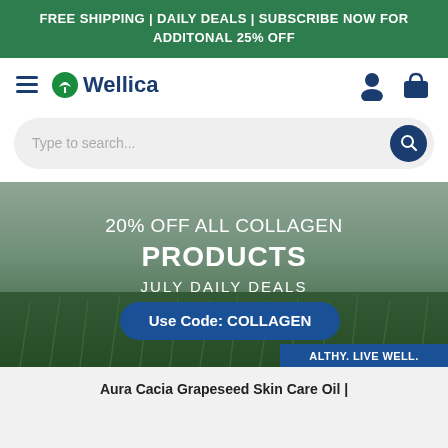FREE SHIPPING | DAILY DEALS | SUBSCRIBE NOW FOR ADDITONAL 25% OFF
[Figure (screenshot): Wellica website navigation bar with hamburger menu, Wellica logo, user account icon and shopping bag icon]
Type to search...
[Figure (photo): Hero banner over green crop field with text: 20% OFF ALL COLLAGEN PRODUCTS, JULY DAILY DEALS, Use Code: COLLAGEN, HEALTHY. LIVE WELL.]
Aura Cacia Grapeseed Skin Care Oil |